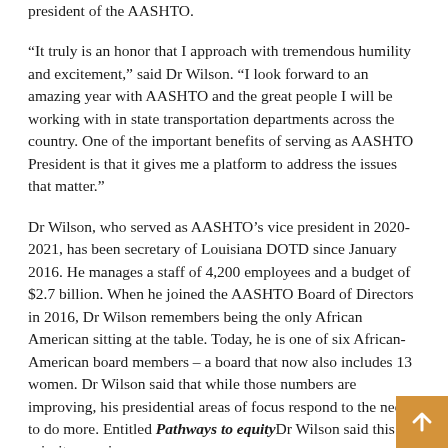president of the AASHTO.
“It truly is an honor that I approach with tremendous humility and excitement,” said Dr Wilson. “I look forward to an amazing year with AASHTO and the great people I will be working with in state transportation departments across the country. One of the important benefits of serving as AASHTO President is that it gives me a platform to address the issues that matter.”
Dr Wilson, who served as AASHTO’s vice president in 2020-2021, has been secretary of Louisiana DOTD since January 2016. He manages a staff of 4,200 employees and a budget of $2.7 billion. When he joined the AASHTO Board of Directors in 2016, Dr Wilson remembers being the only African American sitting at the table. Today, he is one of six African-American board members – a board that now also includes 13 women. Dr Wilson said that while those numbers are improving, his presidential areas of focus respond to the need to do more. Entitled Pathways to equityDr Wilson said this priority area is